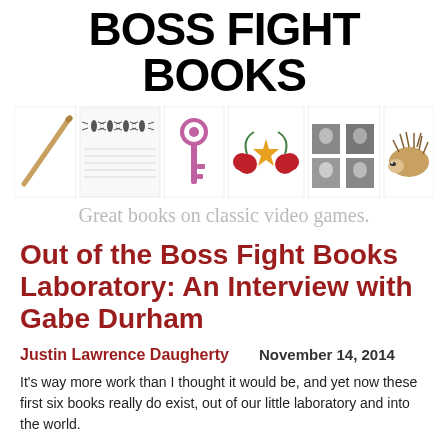BOSS FIGHT BOOKS
[Figure (illustration): Strip of six book cover thumbnails showing various illustrated objects: a stick/rod, insects on a notepad, a pink key, cherries/star/cherries, a grid of portrait photographs, and a hedgehog]
Great books on classic video games.
Out of the Boss Fight Books Laboratory: An Interview with Gabe Durham
Justin Lawrence Daugherty     November 14, 2014
It's way more work than I thought it would be, and yet now these first six books really do exist, out of our little laboratory and into the world.